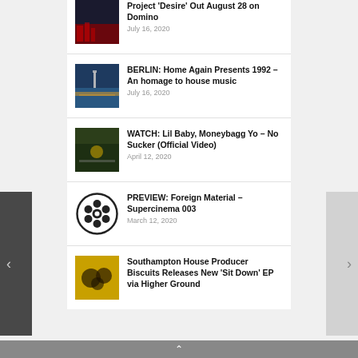Project 'Desire' Out August 28 on Domino — July 16, 2020
BERLIN: Home Again Presents 1992 – An homage to house music — July 16, 2020
WATCH: Lil Baby, Moneybagg Yo – No Sucker (Official Video) — April 12, 2020
PREVIEW: Foreign Material – Supercinema 003 — March 12, 2020
Southampton House Producer Biscuits Releases New 'Sit Down' EP via Higher Ground